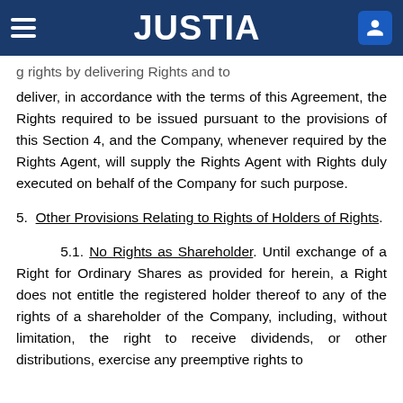JUSTIA
g rights by delivering Rights and to deliver, in accordance with the terms of this Agreement, the Rights required to be issued pursuant to the provisions of this Section 4, and the Company, whenever required by the Rights Agent, will supply the Rights Agent with Rights duly executed on behalf of the Company for such purpose.
5. Other Provisions Relating to Rights of Holders of Rights.
5.1. No Rights as Shareholder. Until exchange of a Right for Ordinary Shares as provided for herein, a Right does not entitle the registered holder thereof to any of the rights of a shareholder of the Company, including, without limitation, the right to receive dividends, or other distributions, exercise any preemptive rights to